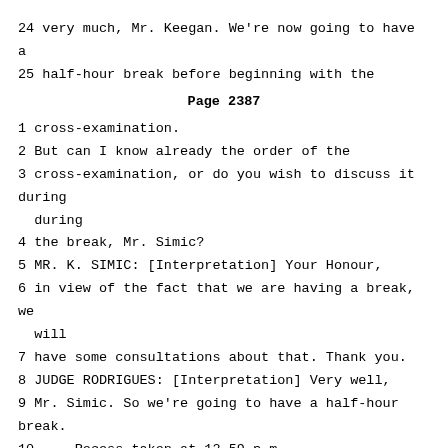24 very much, Mr. Keegan. We're now going to have a
25 half-hour break before beginning with the
Page 2387
1 cross-examination.
2 But can I know already the order of the
3 cross-examination, or do you wish to discuss it during
4 the break, Mr. Simic?
5 MR. K. SIMIC: [Interpretation] Your Honour,
6 in view of the fact that we are having a break, we will
7 have some consultations about that. Thank you.
8 JUDGE RODRIGUES: [Interpretation] Very well,
9 Mr. Simic. So we're going to have a half-hour break.
10 --- Recess taken at 12.59 p.m.
11 --- On resuming at 1.34 p.m.
12 JUDGE RODRIGUES: [Interpretation] Please be